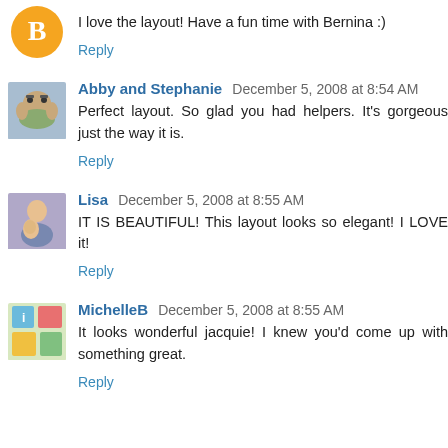[Figure (photo): Blogger default orange circle avatar icon]
I love the layout! Have a fun time with Bernina :)
Reply
[Figure (photo): Profile photo of Abby and Stephanie - dog with sunglasses]
Abby and Stephanie December 5, 2008 at 8:54 AM
Perfect layout. So glad you had helpers. It's gorgeous just the way it is.
Reply
[Figure (photo): Profile photo of Lisa - woman with child]
Lisa December 5, 2008 at 8:55 AM
IT IS BEAUTIFUL! This layout looks so elegant! I LOVE it!
Reply
[Figure (photo): Profile photo of MichelleB - colorful crafts]
MichelleB December 5, 2008 at 8:55 AM
It looks wonderful jacquie! I knew you'd come up with something great.
Reply